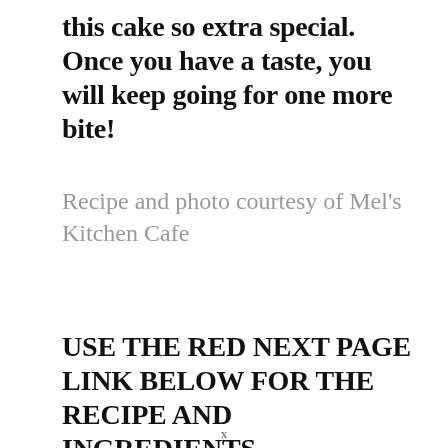this cake so extra special. Once you have a taste, you will keep going for one more bite!
Recipe and photo courtesy of Mel's Kitchen Cafe
USE THE RED NEXT PAGE LINK BELOW FOR THE RECIPE AND INGREDIENTS.
x